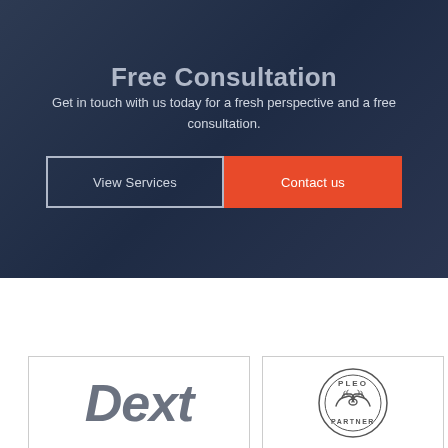Free Consultation
Get in touch with us today for a fresh perspective and a free consultation.
View Services
Contact us
[Figure (logo): Dext logo in large bold grey italic text]
[Figure (logo): PLEO PARTNER circular badge with handshake icon in the center]